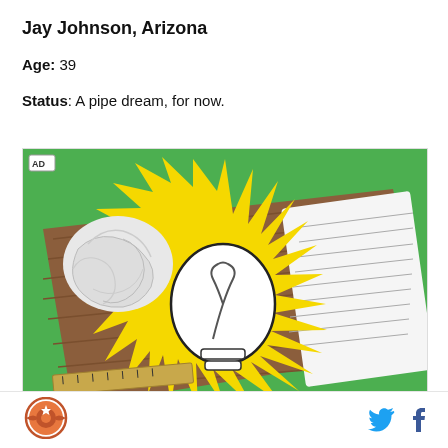Jay Johnson, Arizona
Age: 39
Status: A pipe dream, for now.
[Figure (photo): A creative flat-lay photo showing a green background with a wood-grain brown sheet of paper, a yellow star-burst paper cutout shaped like a light bulb glowing, a crumpled white paper ball, a lined notepad, and a wooden ruler. An 'AD' badge is in the upper-left corner.]
[Figure (logo): Circular logo with an orange/brown circle, star, and arrow — appears to be a publication or media outlet logo]